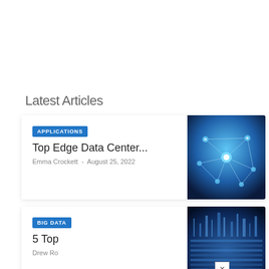Latest Articles
APPLICATIONS
Top Edge Data Center...
Emma Crockett  -  August 25, 2022
[Figure (photo): Network nodes connected with glowing lines on dark blue background]
BIG DATA
5 Top
Drew Ro
[Figure (photo): Data center or city at night with blue lighting]